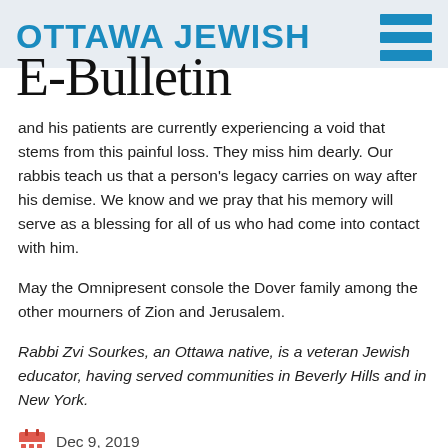OTTAWA JEWISH E-Bulletin
and his patients are currently experiencing a void that stems from this painful loss. They miss him dearly. Our rabbis teach us that a person's legacy carries on way after his demise. We know and we pray that his memory will serve as a blessing for all of us who had come into contact with him.
May the Omnipresent console the Dover family among the other mourners of Zion and Jerusalem.
Rabbi Zvi Sourkes, an Ottawa native, is a veteran Jewish educator, having served communities in Beverly Hills and in New York.
Dec 9, 2019